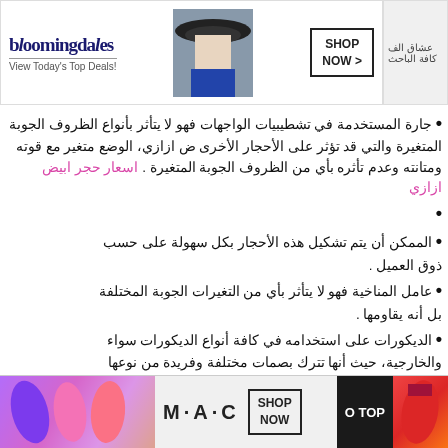[Figure (screenshot): Bloomingdale's advertisement banner at top: logo, 'View Today's Top Deals!' tagline, model with hat, SHOP NOW button]
• لا يتأثر بأنواع الظروف الجوبة المتغيرة والتي قد تؤثر على الأحجار الأخرى في تشطيبيات الواجهات فهو لا يتأثر بانواع الظروف الجوبة المتغيرة، الوضع متغير مع قوته ومتانته وعدم تأثره بأي من الظروف الجوبة المتغيرة . اسعار حجر ابيض ازازي
• الممكن أن يتم تشكيل هذه الأحجار بكل سهولة على حسب ذوق العميل .
• العوامل المناخية فهو لا يتأثر بأي من التغيرات الجوبة المختلفة بل أنه يقاومها
• يمكن الاستخدامه في كافة أنواع الديكورات سواء الداخلية والخارجية، حيث أنها تترك بصمات مختلفة وفريدة من نوعها
• يمكن تشكله بكل سهولة حسب ذوق العميل ورغبته
• للداخلية لأمن ليضيف للمكان الروعة والجمال في التصميم
• الأبيض قد يقلق الكثير من المستخدمين بسبب كثرة اتساخه
• حجر هاشمي ازازي الوضع مختلف فهو سهل التنظيف CLOSE
[Figure (screenshot): MAC cosmetics advertisement banner at bottom: lipstick images, MAC logo, SHOP NOW button, O TOP text on dark background]